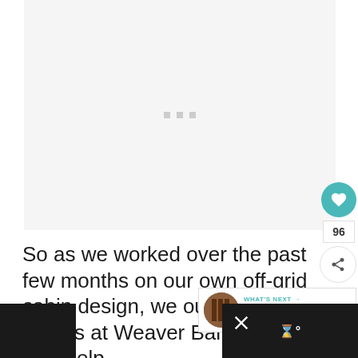[Figure (photo): Large image placeholder area with light gray background and three small gray loading squares in the center]
So as we worked over the past few months on our own off-grid cabin design, we our good friends at Weaver Barns for a little help
[Figure (infographic): UI overlay elements: heart/like button (teal circle, 96 count), share button, WHAT'S NEXT panel showing 'Creating A Tiny Off-Gri...' with thumbnail]